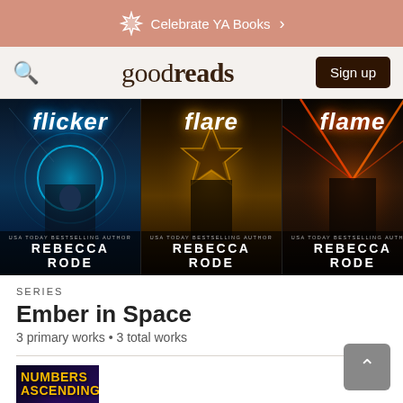Celebrate YA Books
[Figure (screenshot): Goodreads navigation bar with search icon, goodreads logo, and Sign up button]
[Figure (illustration): Three book covers in a row: Flicker, Flare, and Flame by Rebecca Rode (USA Today Bestselling Author) - Ember in Space series sci-fi covers]
SERIES
Ember in Space
3 primary works • 3 total works
[Figure (illustration): Book cover for Numbers Ascending - dark blue/purple fantasy cover with a girl and glowing energy]